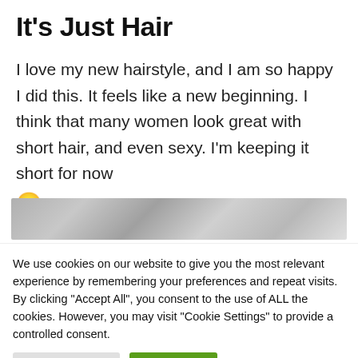It's Just Hair
I love my new hairstyle, and I am so happy I did this. It feels like a new beginning. I think that many women look great with short hair, and even sexy. I'm keeping it short for now 🙂
[Figure (photo): Blurred/redacted horizontal photo strip]
We use cookies on our website to give you the most relevant experience by remembering your preferences and repeat visits. By clicking "Accept All", you consent to the use of ALL the cookies. However, you may visit "Cookie Settings" to provide a controlled consent.